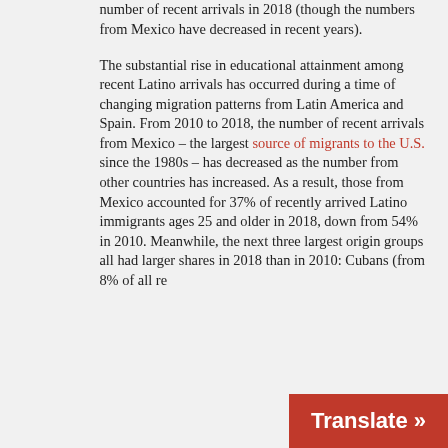number of recent arrivals in 2018 (though the numbers from Mexico have decreased in recent years).

The substantial rise in educational attainment among recent Latino arrivals has occurred during a time of changing migration patterns from Latin America and Spain. From 2010 to 2018, the number of recent arrivals from Mexico – the largest source of migrants to the U.S. since the 1980s – has decreased as the number from other countries has increased. As a result, those from Mexico accounted for 37% of recently arrived Latino immigrants ages 25 and older in 2018, down from 54% in 2010. Meanwhile, the next three largest origin groups all had larger shares in 2018 than in 2010: Cubans (from 8% of all re...
Translate »